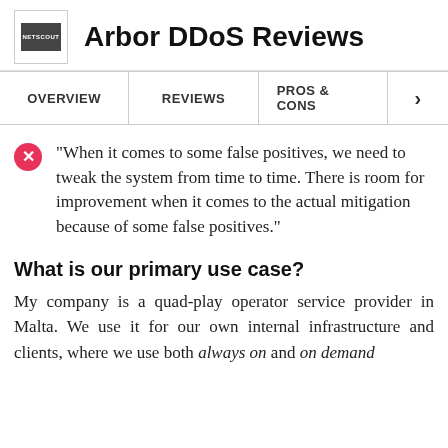Arbor DDoS Reviews
"When it comes to some false positives, we need to tweak the system from time to time. There is room for improvement when it comes to the actual mitigation because of some false positives."
What is our primary use case?
My company is a quad-play operator service provider in Malta. We use it for our own internal infrastructure and clients, where we use both always on and on demand